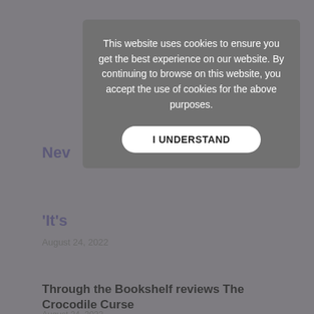[Figure (screenshot): Website screenshot showing a cookie consent modal overlay on a page with purple header and article listings. The modal has dark gray background with white text and an 'I UNDERSTAND' button.]
This website uses cookies to ensure you get the best experience on our website. By continuing to browse on this website, you accept the use of cookies for the above purposes.
I UNDERSTAND
Nev
'It's
August 24, 2022
Through the Bookshelf reviews The Crocodile Curse
August 24, 2022
'This is a brilliant story about being brave enough to speak your truth and define your own identity.'
August 24, 2022
Follow us on social media: